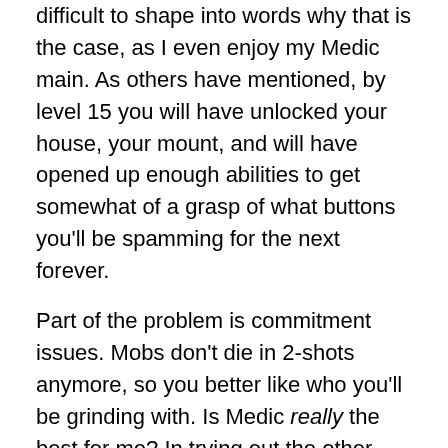difficult to shape into words why that is the case, as I even enjoy my Medic main. As others have mentioned, by level 15 you will have unlocked your house, your mount, and will have opened up enough abilities to get somewhat of a grasp of what buttons you'll be spamming for the next forever.
Part of the problem is commitment issues. Mobs don't die in 2-shots anymore, so you better like who you'll be grinding with. Is Medic really the best for me? In trying out the other classes though, let me just say that Carbine is going to seriously need to work on the ESPer and Engineer (I'd say Warrior too, but I'll give it another shot first).
The Engineer problem is pretty straight-forward: the bots suck. Not only do the bots suck damage-wise – which is a